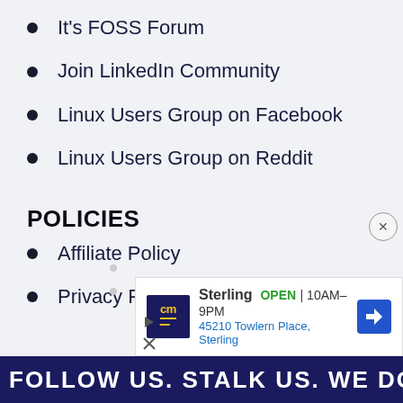It's FOSS Forum
Join LinkedIn Community
Linux Users Group on Facebook
Linux Users Group on Reddit
POLICIES
Affiliate Policy
Privacy Policy
FOLLOW US. STALK US. WE DON'T MIND
[Figure (infographic): Advertisement overlay for Sterling location with CM logo, showing OPEN 10AM-9PM, 45210 Towlern Place, Sterling, with navigation arrow icon and close button]